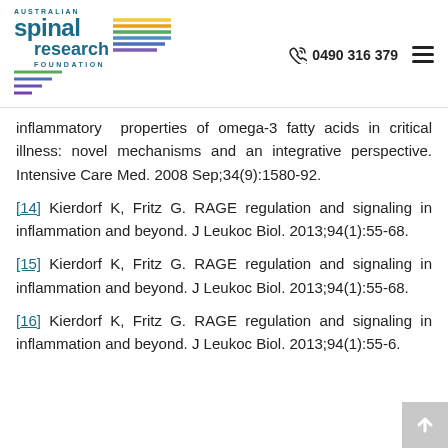Australian Spinal Research Foundation | 0490 316 379
inflammatory  properties of omega-3 fatty acids in critical illness: novel mechanisms and an integrative perspective. Intensive Care Med. 2008 Sep;34(9):1580-92.
[14] Kierdorf K, Fritz G. RAGE regulation and signaling in inflammation and beyond. J Leukoc Biol. 2013;94(1):55-68.
[15] Kierdorf K, Fritz G. RAGE regulation and signaling in inflammation and beyond. J Leukoc Biol. 2013;94(1):55-68.
[16] Kierdorf K, Fritz G. RAGE regulation and signaling in inflammation and beyond. J Leukoc Biol. 2013;94(1):55-6.